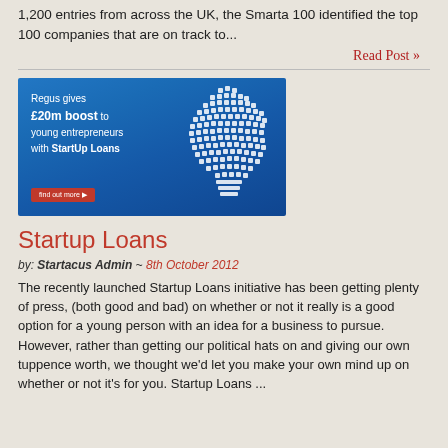1,200 entries from across the UK, the Smarta 100 identified the top 100 companies that are on track to...
Read Post »
[Figure (infographic): Blue banner advertisement: 'Regus gives £20m boost to young entrepreneurs with StartUp Loans' with a light bulb made of technology icons on the right and a red 'find out more' button.]
Startup Loans
by: Startacus Admin ~ 8th October 2012
The recently launched Startup Loans initiative has been getting plenty of press, (both good and bad) on whether or not it really is a good option for a young person with an idea for a business to pursue. However, rather than getting our political hats on and giving our own tuppence worth, we thought we'd let you make your own mind up on whether or not it's for you. Startup Loans ...